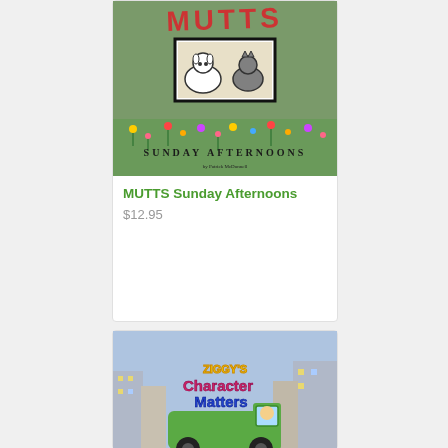[Figure (illustration): Book cover of MUTTS Sunday Afternoons by Patrick McDonnell, showing cartoon dog and cat on a green background with flowers and the title text]
MUTTS Sunday Afternoons
$12.95
[Figure (illustration): Book cover of Ziggy's Character Matters, showing colorful comic-style lettering with a character in a vehicle in a city setting]